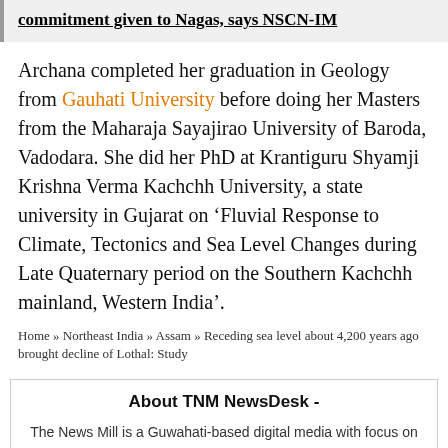commitment given to Nagas, says NSCN-IM
Archana completed her graduation in Geology from Gauhati University before doing her Masters from the Maharaja Sayajirao University of Baroda, Vadodara. She did her PhD at Krantiguru Shyamji Krishna Verma Kachchh University, a state university in Gujarat on ‘Fluvial Response to Climate, Tectonics and Sea Level Changes during Late Quaternary period on the Southern Kachchh mainland, Western India’.
Home » Northeast India » Assam » Receding sea level about 4,200 years ago brought decline of Lothal: Study
About TNM NewsDesk  -
The News Mill is a Guwahati-based digital media with focus on